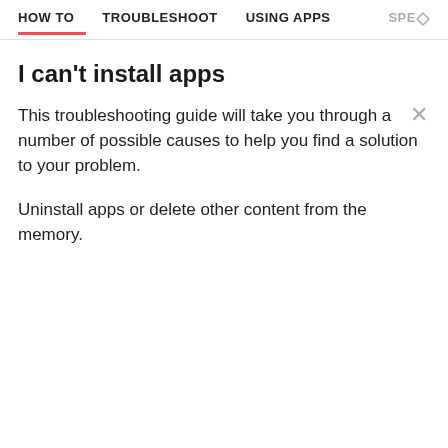HOW TO   TROUBLESHOOT   USING APPS   SPEO
I can't install apps
This troubleshooting guide will take you through a number of possible causes to help you find a solution to your problem.
Uninstall apps or delete other content from the memory.